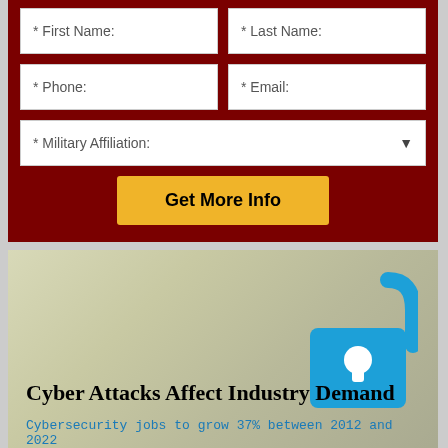[Figure (other): Web form with dark red background containing fields for First Name, Last Name, Phone, Email, Military Affiliation dropdown, and a Get More Info button]
[Figure (infographic): Infographic with olive/beige background featuring a blue unlocked padlock icon, title 'Cyber Attacks Affect Industry Demand', and subtitle 'Cybersecurity jobs to grow 37% between 2012 and 2022' in blue monospace text]